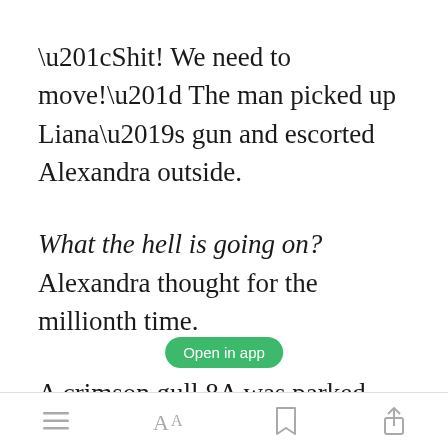“Shit! We need to move!” The man picked up Liana’s gun and escorted Alexandra outside.
What the hell is going on? Alexandra thought for the millionth time.
A crimson gull 8A was parked outside, smoke hissing from one of the stabilizers on its rear. Must’ve
[Figure (screenshot): Open in app button (green rounded rectangle)]
toolbar with menu, font, bookmark, and share icons